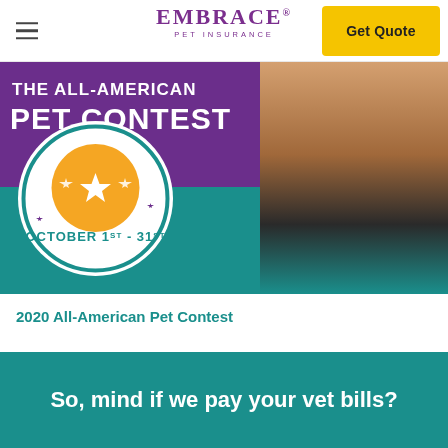Embrace Pet Insurance — Get Quote
[Figure (illustration): Promotional banner for The All-American Pet Contest, October 1st–31st, with purple and teal background, white circle medallion with stars and orange inner circle, and a dog visible on the right side.]
2020 All-American Pet Contest
So, mind if we pay your vet bills?